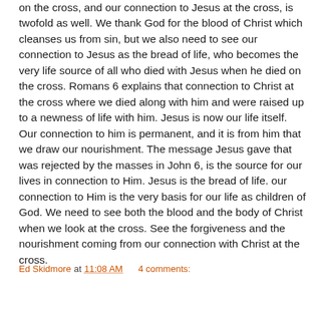on the cross, and our connection to Jesus at the cross, is twofold as well. We thank God for the blood of Christ which cleanses us from sin, but we also need to see our connection to Jesus as the bread of life, who becomes the very life source of all who died with Jesus when he died on the cross. Romans 6 explains that connection to Christ at the cross where we died along with him and were raised up to a newness of life with him. Jesus is now our life itself. Our connection to him is permanent, and it is from him that we draw our nourishment. The message Jesus gave that was rejected by the masses in John 6, is the source for our lives in connection to Him. Jesus is the bread of life. our connection to Him is the very basis for our life as children of God. We need to see both the blood and the body of Christ when we look at the cross. See the forgiveness and the nourishment coming from our connection with Christ at the cross.
Ed Skidmore at 11:08 AM   4 comments:
Share